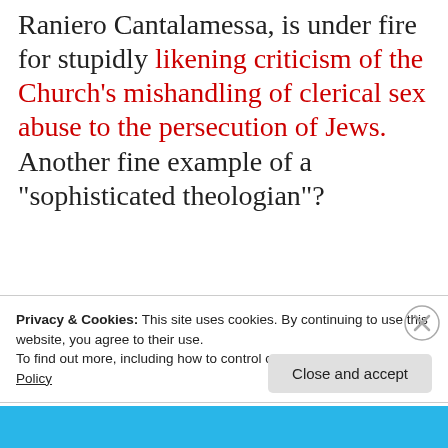Raniero Cantalamessa, is under fire for stupidly likening criticism of the Church's mishandling of clerical sex abuse to the persecution of Jews. Another fine example of a "sophisticated theologian"?
Privacy & Cookies: This site uses cookies. By continuing to use this website, you agree to their use.
To find out more, including how to control cookies, see here: Cookie Policy